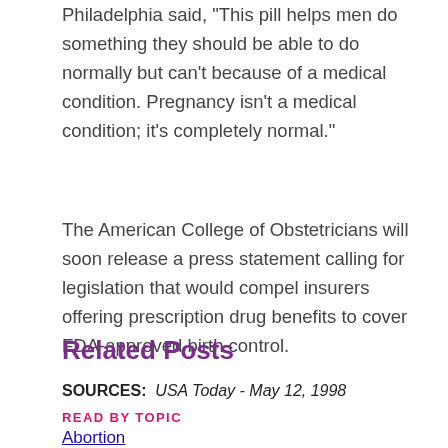Philadelphia said, “This pill helps men do something they should be able to do normally but can’t because of a medical condition. Pregnancy isn’t a medical condition; it’s completely normal.”
The American College of Obstetricians will soon release a press statement calling for legislation that would compel insurers offering prescription drug benefits to cover FDA-approved birth control.
Related Posts
SOURCES:  USA Today - May 12, 1998
READ BY TOPIC
Abortion